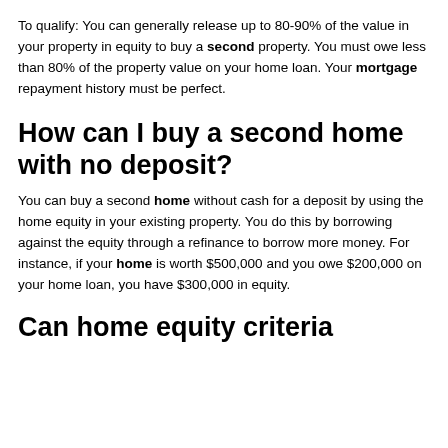To qualify: You can generally release up to 80-90% of the value in your property in equity to buy a second property. You must owe less than 80% of the property value on your home loan. Your mortgage repayment history must be perfect.
How can I buy a second home with no deposit?
You can buy a second home without cash for a deposit by using the home equity in your existing property. You do this by borrowing against the equity through a refinance to borrow more money. For instance, if your home is worth $500,000 and you owe $200,000 on your home loan, you have $300,000 in equity.
Can home equity criteria...